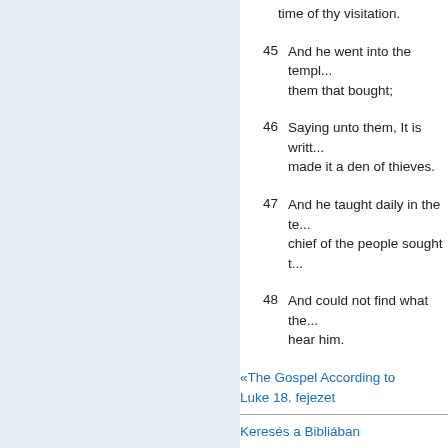time of thy visitation.
45 And he went into the temple, and began to cast out them that bought;
46 Saying unto them, It is written, and ye have made it a den of thieves.
47 And he taught daily in the temple. But the chief of the people sought t...
48 And could not find what they might do: for all the people were very attentive to hear him.
«The Gospel According to Luke 18. fejezet
Keresés a Bibliában
Párhuzamos Biblia olvasás
American Standard
Kedvenc Versek